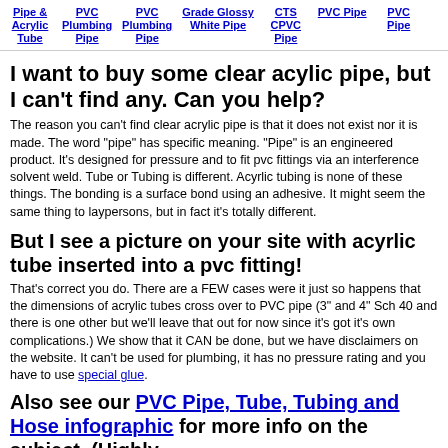Pipe & Acrylic Tube | PVC Plumbing Pipe | PVC Plumbing Pipe | Grade Glossy White Pipe | CTS CPVC Pipe | PVC Pipe | PVC Pipe
I want to buy some clear acylic pipe, but I can't find any. Can you help?
The reason you can't find clear acrylic pipe is that it does not exist nor it is made. The word "pipe" has specific meaning. "Pipe" is an engineered product. It's designed for pressure and to fit pvc fittings via an interference solvent weld. Tube or Tubing is different. Acyrlic tubing is none of these things. The bonding is a surface bond using an adhesive. It might seem the same thing to laypersons, but in fact it's totally different.
But I see a picture on your site with acyrlic tube inserted into a pvc fitting!
That's correct you do. There are a FEW cases were it just so happens that the dimensions of acrylic tubes cross over to PVC pipe (3" and 4" Sch 40 and there is one other but we'll leave that out for now since it's got it's own complications.) We show that it CAN be done, but we have disclaimers on the website. It can't be used for plumbing, it has no pressure rating and you have to use special glue.
Also see our PVC Pipe, Tube, Tubing and Hose infographic for more info on the subject. (Highly